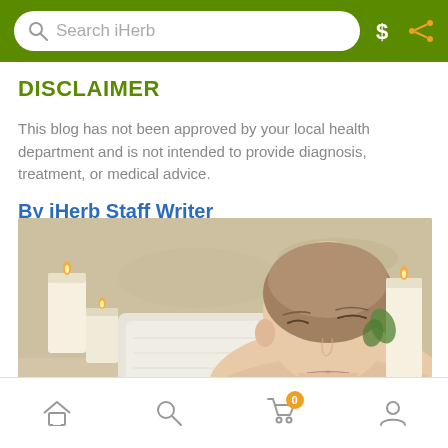Search iHerb
DISCLAIMER
This blog has not been approved by your local health department and is not intended to provide diagnosis, treatment, or medical advice.
By iHerb Staff Writer
[Figure (photo): Woman relaxing in a bathtub with eyes closed, white towel as pillow, surrounded by lit candles on a marble background]
Home, Search, Cart (0), Account navigation icons